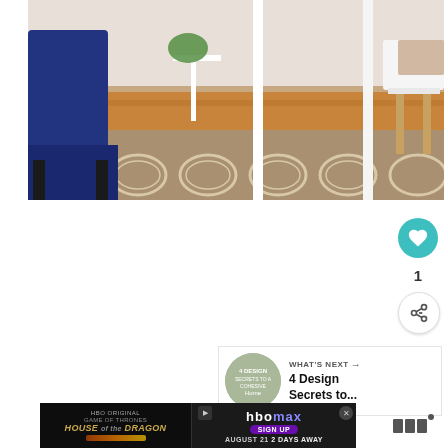[Figure (photo): Interior room photo showing a patterned beige/tan area rug with quatrefoil design on hardwood floors, with a navy blue armchair on the left and white modern dining chairs on the right, plus a white side table with a plant]
[Figure (infographic): Social media interaction buttons: teal heart/like button, count showing 1, and share button with plus icon]
[Figure (infographic): What's Next panel showing a circular thumbnail and text '4 Design Secrets to...' with arrow]
[Figure (screenshot): HBO Max advertisement banner for House of the Dragon TV show with sign up prompt, August 21 2 Days Away]